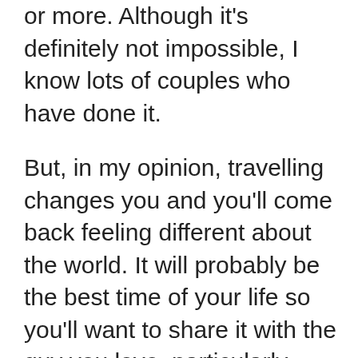or more. Although it's definitely not impossible, I know lots of couples who have done it.
But, in my opinion, travelling changes you and you'll come back feeling different about the world. It will probably be the best time of your life so you'll want to share it with the guy you love, particularly because you'll be talking about it for the rest of your life.
Sam and I took a big, two-year trip together and it turned out to be the best